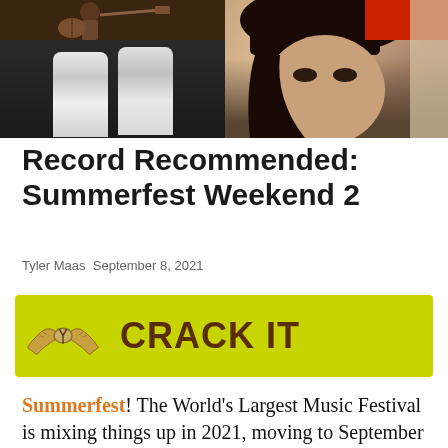[Figure (photo): Photo collage: top-left shows a musician with guitar, bottom-left shows two people in black and white, right side shows a woman with dark hair and red hat]
Record Recommended: Summerfest Weekend 2
Tyler Maas  September 8, 2021
[Figure (infographic): Green/yellow advertisement banner with illustrated hands cracking a beer and text 'CRACK IT']
Summerfest! The World's Largest Music Festival is mixing things up in 2021, moving to September and staking out three Thursday-